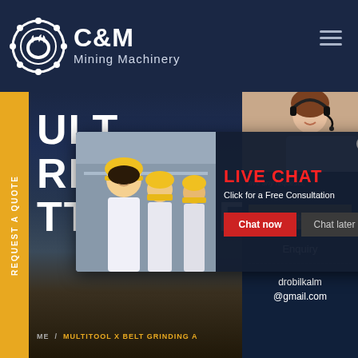[Figure (logo): C&M Mining Machinery logo with gear/claw icon in white circle on dark navy background]
C&M Mining Machinery
[Figure (photo): Hero section showing partial large text MULTITOOL GRINDING ATTACHMENT on dark background with heavy equipment imagery]
[Figure (photo): Live chat popup overlay showing workers in yellow hard hats on left, LIVE CHAT heading in red with 'Click for a Free Consultation' text, Chat now (red) and Chat later (dark) buttons]
[Figure (photo): Female customer service representative with headset on right sidebar panel]
have any requests, ick here.
Quotation
Enquiry
drobilkalm@gmail.com
REQUEST A QUOTE
LIVE CHAT Click for a Free Consultation Chat now Chat later
ULT RIN TTACHMENT
ME / MULTITOOL X BELT GRINDING A